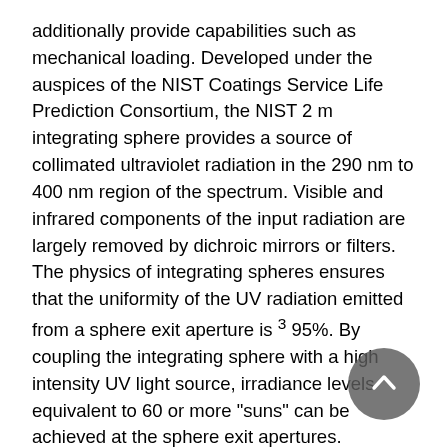additionally provide capabilities such as mechanical loading. Developed under the auspices of the NIST Coatings Service Life Prediction Consortium, the NIST 2 m integrating sphere provides a source of collimated ultraviolet radiation in the 290 nm to 400 nm region of the spectrum. Visible and infrared components of the input radiation are largely removed by dichroic mirrors or filters. The physics of integrating spheres ensures that the uniformity of the UV radiation emitted from a sphere exit aperture is ³ 95%. By coupling the integrating sphere with a high intensity UV light source, irradiance levels equivalent to 60 or more "suns" can be achieved at the sphere exit apertures.
The exit apertures in the sphere can be connected to specimen chambers, with the specific type of chamber utilized being dependent on the material being tested. Specimen chambers equipped with grips will apply mechanical loads to specimens while they are undergoing UV exposure. Temperature and relative humidity can be